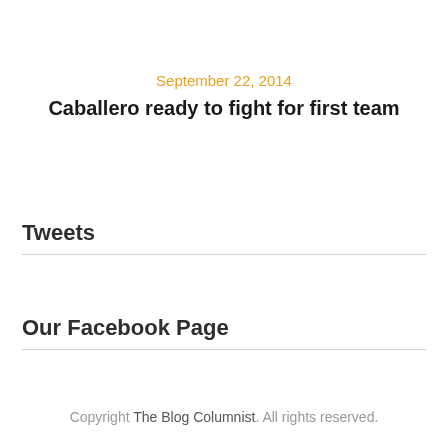September 22, 2014
Caballero ready to fight for first team
Tweets
Our Facebook Page
Copyright The Blog Columnist. All rights reserved.